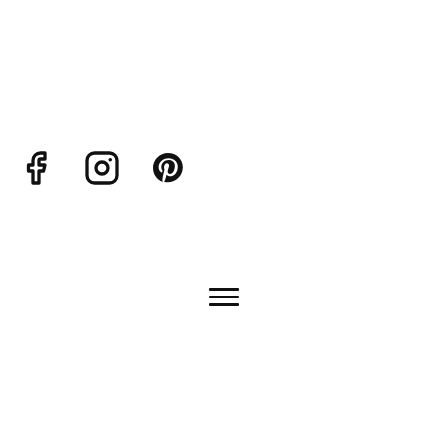[Figure (other): Social media icons: Facebook (f), Instagram (camera), Pinterest (P)]
≡
Desserts
Believe it or not, dessert recipes featuring